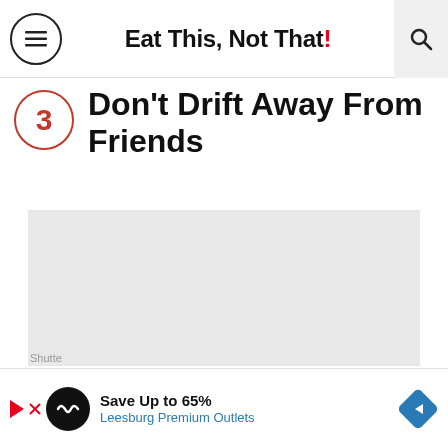Eat This, Not That!
3 Don't Drift Away From Friends
[Figure (photo): Gray placeholder rectangle representing an image (content not loaded)]
Shutterstock
Save Up to 65% Leesburg Premium Outlets